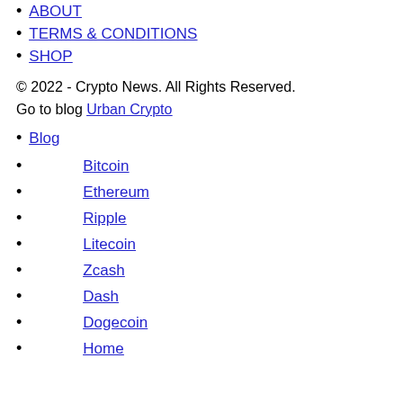ABOUT
TERMS & CONDITIONS
SHOP
© 2022 - Crypto News. All Rights Reserved.
Go to blog Urban Crypto
Blog
Bitcoin
Ethereum
Ripple
Litecoin
Zcash
Dash
Dogecoin
Home